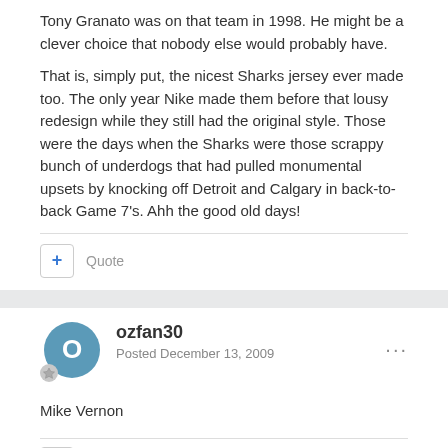Tony Granato was on that team in 1998. He might be a clever choice that nobody else would probably have.
That is, simply put, the nicest Sharks jersey ever made too. The only year Nike made them before that lousy redesign while they still had the original style. Those were the days when the Sharks were those scrappy bunch of underdogs that had pulled monumental upsets by knocking off Detroit and Calgary in back-to-back Game 7's. Ahh the good old days!
+ Quote
ozfan30
Posted December 13, 2009
Mike Vernon
Quote